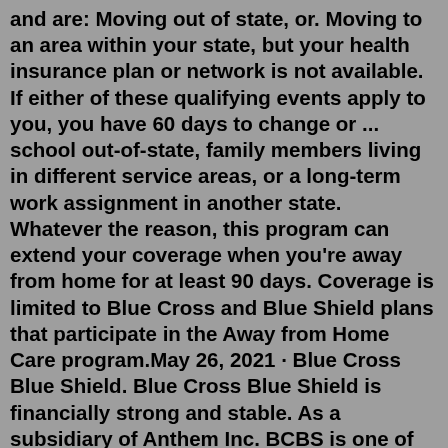and are: Moving out of state, or. Moving to an area within your state, but your health insurance plan or network is not available. If either of these qualifying events apply to you, you have 60 days to change or ... school out-of-state, family members living in different service areas, or a long-term work assignment in another state. Whatever the reason, this program can extend your coverage when you're away from home for at least 90 days. Coverage is limited to Blue Cross and Blue Shield plans that participate in the Away from Home Care program.May 26, 2021 · Blue Cross Blue Shield. Blue Cross Blue Shield is financially strong and stable. As a subsidiary of Anthem Inc. BCBS is one of the most prominent health insurers. Blue Cross Blue Shield offers global coverage and a global coverage app on itunes and GooglePlay. BCBS is available in 50 states and is accepted by 90% of doctors and specialists. On average, patients who use Zocdoc can search for a Chiropractor who takes Blue Cross Blue Shield insurance, book an appointment, and see the Chiropractors within 24 hours. Same day...